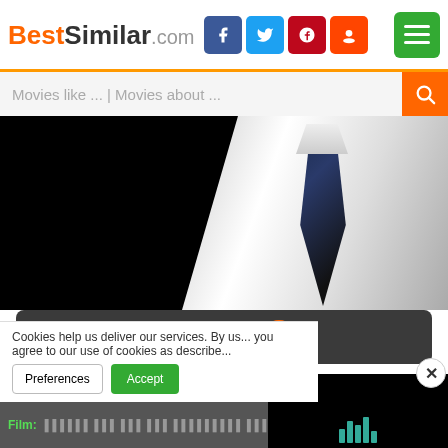BestSimilar.com
Movies like ... | Movies about ...
[Figure (photo): Movie still showing a person in a white suit with a dark tie, mostly black background]
TRAILER ▶
Genre: Biography, Crime, Drama
Country: USA
Duration: 93 min.
+ Watchlist
Story: The story of the rise and fa... City organized crime boss, Paul c...
Cookies help us deliver our services. By us... you agree to our use of cookies as describe...
Preferences  Accept